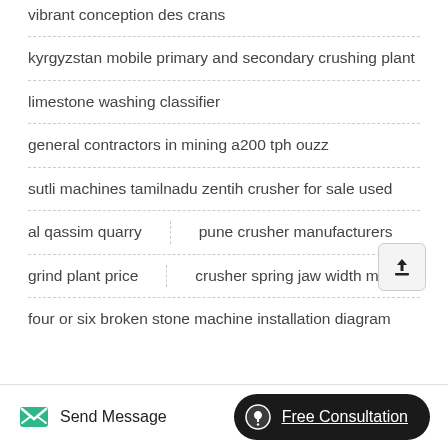vibrant conception des crans
kyrgyzstan mobile primary and secondary crushing plant
limestone washing classifier
general contractors in mining a200 tph ouzz
sutli machines tamilnadu zentih crusher for sale used
al qassim quarry    pune crusher manufacturers
grind plant price    crusher spring jaw width mm
four or six broken stone machine installation diagram
Send Message    Free Consultation